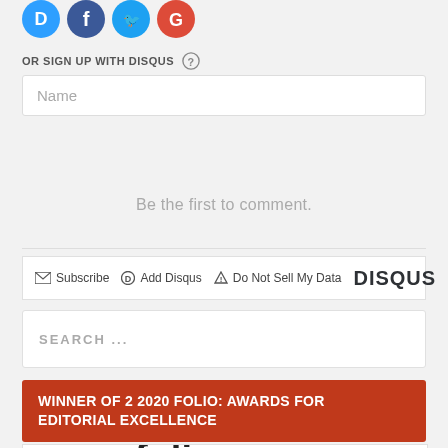[Figure (illustration): Social media icons: Disqus (blue D), Facebook (blue f), Twitter (blue bird), Google (red G)]
OR SIGN UP WITH DISQUS ?
Name
Be the first to comment.
Subscribe   Add Disqus   Do Not Sell My Data   DISQUS
SEARCH ...
WINNER OF 2 2020 FOLIO: AWARDS FOR EDITORIAL EXCELLENCE
[Figure (logo): Folio: logo (partially visible)]